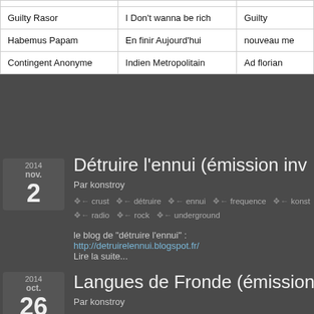|  |  |  |
| Guilty Rasor | I Don't wanna be rich | Guilty |
| Habemus Papam | En finir Aujourd'hui | nouveau me |
| Contingent Anonyme | Indien Metropolitain | Ad florian |
Détruire l'ennui (émission inv
Par konstroy
crust  détruire  ennui  frequence  konst radio  rock  underground
le blog de "détruire l'ennui" : http://detruirelennui.blogspot.fr/
Lire la suite...
Langues de Fronde (émission
Par konstroy